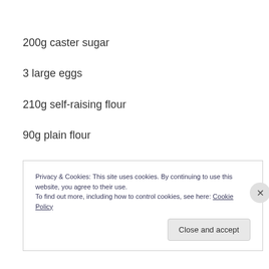200g caster sugar
3 large eggs
210g self-raising flour
90g plain flour
splash vanilla extract
Privacy & Cookies: This site uses cookies. By continuing to use this website, you agree to their use.
To find out more, including how to control cookies, see here: Cookie Policy
Close and accept